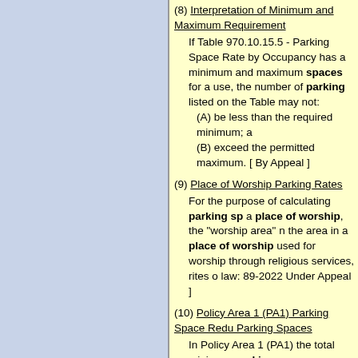(8) Interpretation of Minimum and Maximum Requirement
If Table 970.10.15.5 - Parking Space Rate by Occupancy has a minimum and maximum spaces for a use, the number of parking spaces listed on the Table may not:
(A) be less than the required minimum; a
(B) exceed the permitted maximum. [ By Appeal ]
(9) Place of Worship Parking Rates
For the purpose of calculating parking sp a place of worship, the "worship area" n the area in a place of worship used for worship through religious services, rites o law: 89-2022 Under Appeal ]
(10) Policy Area 1 (PA1) Parking Space Reduction Parking Spaces
In Policy Area 1 (PA1) the total minimum parking spaces required on a lot may b of 1 vehicle parking space for each 5 b spaces provided in excess of the minim bicycle parking spaces required by Ch reduction of vehicle parking space is n percent of the total minimum vehicle pa required. [ By-law: 89-2022 Under Appea
(11) Parking Rates - Accessible Parking Spa
If the total parking space requirement is identified off street accessible parking s provided on the same lot as every bu